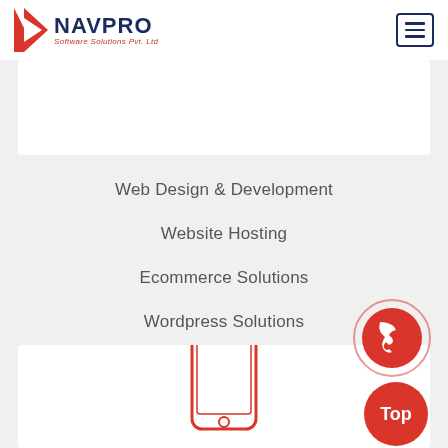[Figure (logo): Navpro Software Solutions Pvt. Ltd logo with red N icon and dark blue NAVPRO text]
Web Design & Development
Website Hosting
Ecommerce Solutions
Wordpress Solutions
[Figure (illustration): Red outline smartphone/mobile phone illustration]
[Figure (other): Red circular phone/call button icon with outer ring]
[Figure (other): Red solid circle 'Top' button for scroll to top]